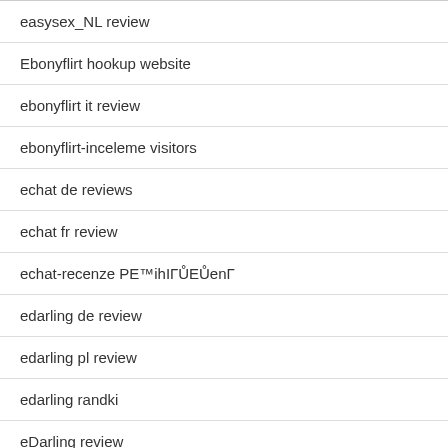| easysex_NL review |
| Ebonyflirt hookup website |
| ebonyflirt it review |
| ebonyflirt-inceleme visitors |
| echat de reviews |
| echat fr review |
| echat-recenze PE™ihIГŮEŮenГ |
| edarling de review |
| edarling pl review |
| edarling randki |
| eDarling review |